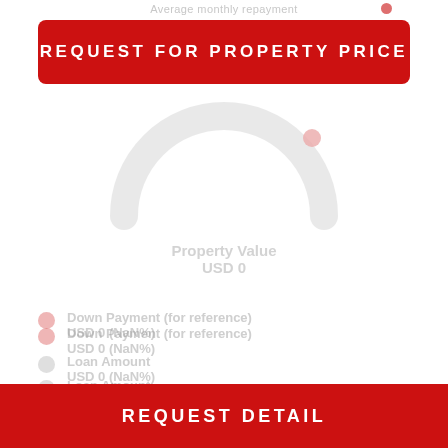Average monthly repayment
REQUEST FOR PROPERTY PRICE
[Figure (donut-chart): Partial donut/gauge chart showing a gray arc, mostly empty, with a small red indicator near the top right. Represents mortgage calculator gauge.]
Property Value
USD 0
Down Payment (for reference)
USD 0 (NaN%)
Loan Amount
USD 0 (NaN%)
Total Interest Expense
USD 0
(Interest rate 4.8%)
REQUEST DETAIL